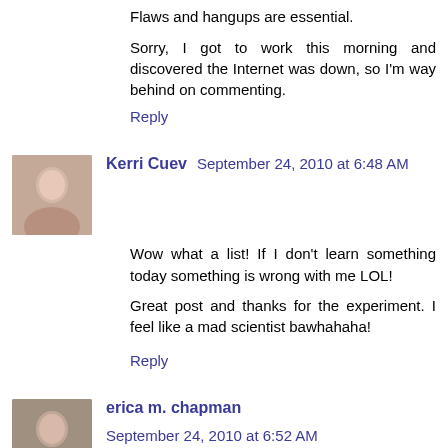Flaws and hangups are essential.
Sorry, I got to work this morning and discovered the Internet was down, so I'm way behind on commenting.
Reply
Kerri Cuev  September 24, 2010 at 6:48 AM
Wow what a list! If I don't learn something today something is wrong with me LOL!
Great post and thanks for the experiment. I feel like a mad scientist bawhahaha!
Reply
erica m. chapman  September 24, 2010 at 6:52 AM
Totally agree! I pay special attention to people too. I think they provide great ideas! Great post ;o) Thanks for this. It was fun!
Reply